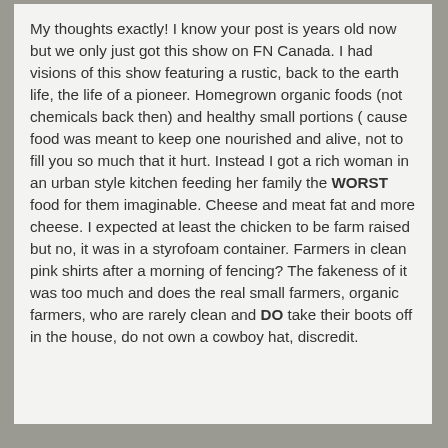My thoughts exactly! I know your post is years old now but we only just got this show on FN Canada. I had visions of this show featuring a rustic, back to the earth life, the life of a pioneer. Homegrown organic foods (not chemicals back then) and healthy small portions ( cause food was meant to keep one nourished and alive, not to fill you so much that it hurt. Instead I got a rich woman in an urban style kitchen feeding her family the WORST food for them imaginable. Cheese and meat fat and more cheese. I expected at least the chicken to be farm raised but no, it was in a styrofoam container. Farmers in clean pink shirts after a morning of fencing? The fakeness of it was too much and does the real small farmers, organic farmers, who are rarely clean and DO take their boots off in the house, do not own a cowboy hat, discredit.